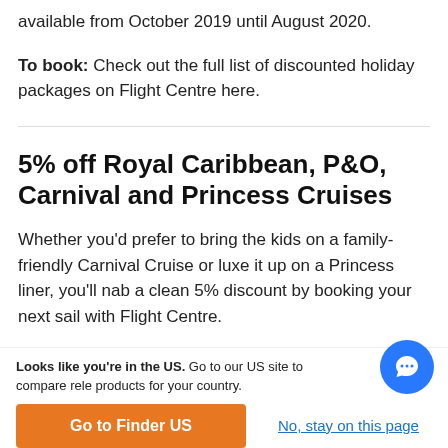available from October 2019 until August 2020.
To book: Check out the full list of discounted holiday packages on Flight Centre here.
5% off Royal Caribbean, P&O, Carnival and Princess Cruises
Whether you'd prefer to bring the kids on a family-friendly Carnival Cruise or luxe it up on a Princess liner, you'll nab a clean 5% discount by booking your next sail with Flight Centre.
Looks like you're in the US. Go to our US site to compare rele products for your country.
Go to Finder US
No, stay on this page